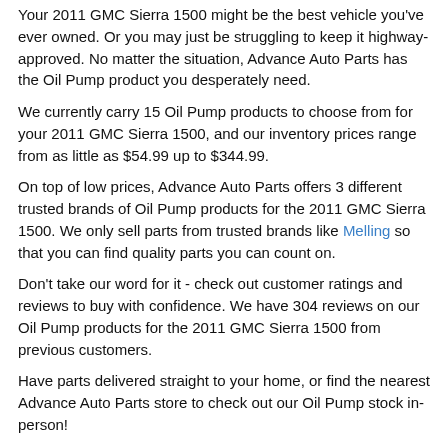Your 2011 GMC Sierra 1500 might be the best vehicle you've ever owned. Or you may just be struggling to keep it highway-approved. No matter the situation, Advance Auto Parts has the Oil Pump product you desperately need.
We currently carry 15 Oil Pump products to choose from for your 2011 GMC Sierra 1500, and our inventory prices range from as little as $54.99 up to $344.99.
On top of low prices, Advance Auto Parts offers 3 different trusted brands of Oil Pump products for the 2011 GMC Sierra 1500. We only sell parts from trusted brands like Melling so that you can find quality parts you can count on.
Don't take our word for it - check out customer ratings and reviews to buy with confidence. We have 304 reviews on our Oil Pump products for the 2011 GMC Sierra 1500 from previous customers.
Have parts delivered straight to your home, or find the nearest Advance Auto Parts store to check out our Oil Pump stock in-person!